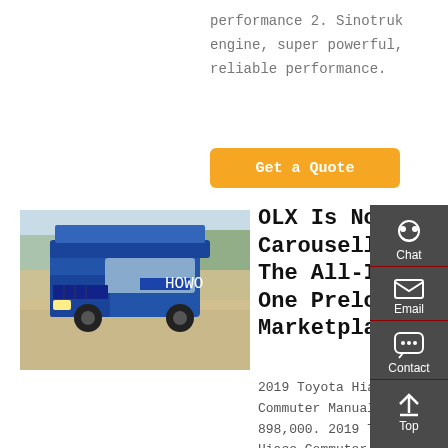performance 2. Sinotruk engine, super powerful, reliable performance.
[Figure (other): Orange 'Get a Quote' button]
[Figure (photo): Blue Sinotruk heavy truck parked outdoors]
OLX Is Now Carousell, The All-In-One Preloved Marketplace
2019 Toyota Hiace Commuter Manual. PHP 898,000. 2019 Toyota Hiace Commuter Powerful